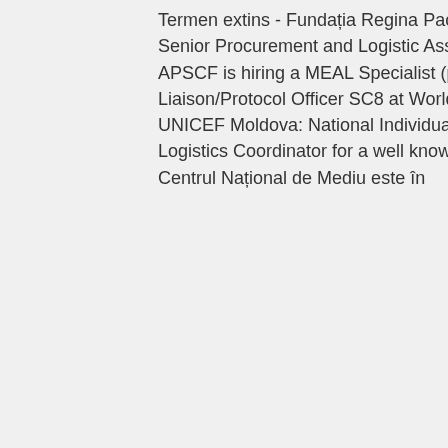Termen extins - Fundația Regina Pacis solicită oferte de preț pentru procurarea medicamentelor
Senior Procurement and Logistic Assistant (G6), IOM Moldova
APSCF is hiring a MEAL Specialist (part-time)
Liaison/Protocol Officer SC8 at World Food Programme (WFP) Moldova
UNICEF Moldova: National Individual Communication Consultant
Logistics Coordinator for a well known US Freight Brokerage Company
Centrul Național de Mediu este în